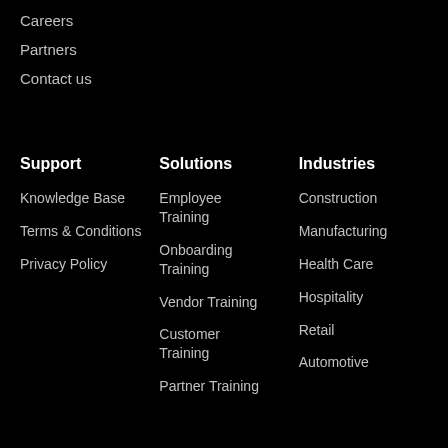Careers
Partners
Contact us
Support
Knowledge Base
Terms & Conditions
Privacy Policy
Solutions
Employee Training
Onboarding Training
Vendor Training
Customer Training
Partner Training
Industries
Construction
Manufacturing
Health Care
Hospitality
Retail
Automotive